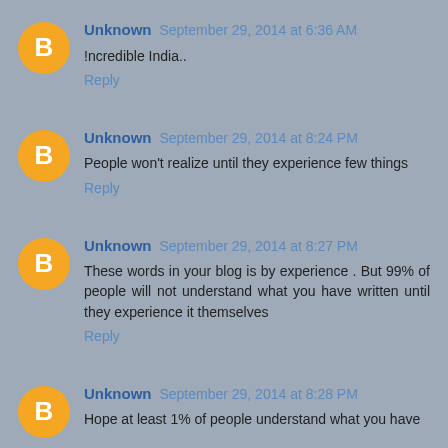Unknown September 29, 2014 at 6:36 AM
!ncredible India..
Reply
Unknown September 29, 2014 at 8:24 PM
People won't realize until they experience few things
Reply
Unknown September 29, 2014 at 8:27 PM
These words in your blog is by experience . But 99% of people will not understand what you have written until they experience it themselves
Reply
Unknown September 29, 2014 at 8:28 PM
Hope at least 1% of people understand what you have